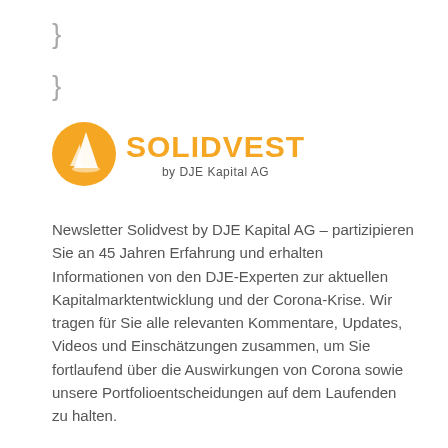}
}
[Figure (logo): Solidvest by DJE Kapital AG logo — orange circle with white sailboat icon and orange SOLIDVEST wordmark with 'by DJE Kapital AG' subtitle]
Newsletter Solidvest by DJE Kapital AG – partizipieren Sie an 45 Jahren Erfahrung und erhalten Informationen von den DJE-Experten zur aktuellen Kapitalmarktentwicklung und der Corona-Krise. Wir tragen für Sie alle relevanten Kommentare, Updates, Videos und Einschätzungen zusammen, um Sie fortlaufend über die Auswirkungen von Corona sowie unsere Portfolioentscheidungen auf dem Laufenden zu halten.